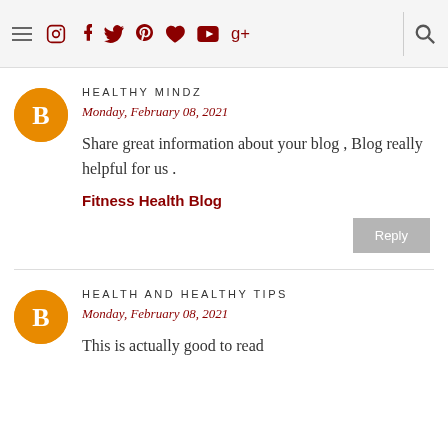≡ [icons: instagram, facebook, twitter, pinterest, heart, youtube, google+] [search]
HEALTHY MINDZ
Monday, February 08, 2021
Share great information about your blog , Blog really helpful for us .
Fitness Health Blog
Reply
HEALTH AND HEALTHY TIPS
Monday, February 08, 2021
This is actually good to read